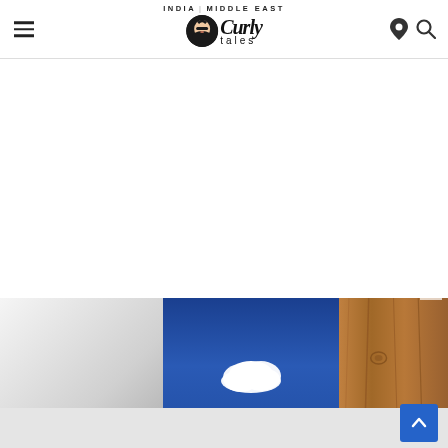Curly Tales — INDIA | MIDDLE EAST
p...g...
[Figure (screenshot): Website screenshot showing Curly Tales header with hamburger menu, logo, location pin, and search icon, a partial text heading, a large white space area, and a photo gallery strip at the bottom with a gray gradient panel, a blue sky with white cloud photo, and a wooden texture panel. A scroll-to-top blue button is at the bottom right.]